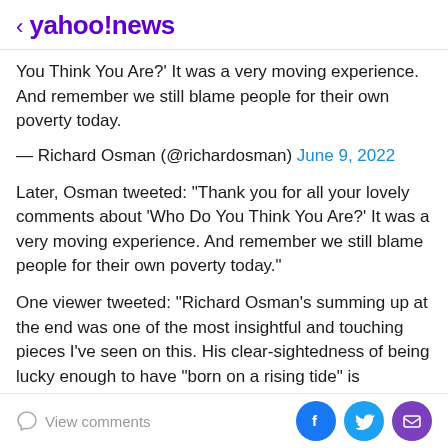< yahoo!news
You Think You Are?' It was a very moving experience. And remember we still blame people for their own poverty today.
— Richard Osman (@richardosman) June 9, 2022
Later, Osman tweeted: "Thank you for all your lovely comments about 'Who Do You Think You Are?' It was a very moving experience. And remember we still blame people for their own poverty today."
One viewer tweeted: "Richard Osman's summing up at the end was one of the most insightful and touching pieces I've seen on this. His clear-sightedness of being lucky enough to have "born on a rising tide" is something
View comments